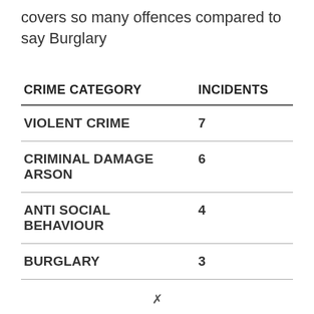covers so many offences compared to say Burglary
| CRIME CATEGORY | INCIDENTS |
| --- | --- |
| VIOLENT CRIME | 7 |
| CRIMINAL DAMAGE ARSON | 6 |
| ANTI SOCIAL BEHAVIOUR | 4 |
| BURGLARY | 3 |